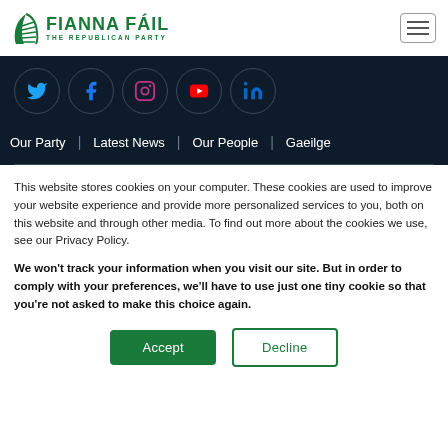[Figure (logo): Fianna Fáil – The Republican Party logo with green harp and text]
[Figure (infographic): Social media icon row: Twitter, Facebook, Instagram, YouTube, LinkedIn — white icons in dark circular borders on dark navy background]
Our Party | Latest News | Our People | Gaeilge
This website stores cookies on your computer. These cookies are used to improve your website experience and provide more personalized services to you, both on this website and through other media. To find out more about the cookies we use, see our Privacy Policy.
We won't track your information when you visit our site. But in order to comply with your preferences, we'll have to use just one tiny cookie so that you're not asked to make this choice again.
Accept | Decline